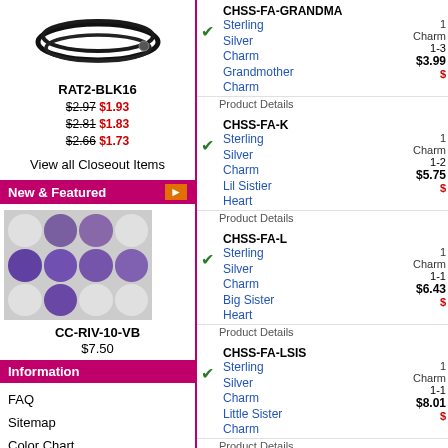[Figure (photo): Black cord/bracelet product photo for RAT2-BLK16]
RAT2-BLK16
$2.97 $1.93
$2.81 $1.83
$2.66 $1.73
View all Closeout Items
New & Featured
[Figure (photo): Grid of purple/violet rivoli crystals CC-RIV-10-VB]
CC-RIV-10-VB
$7.50
Information
FAQ
Sitemap
Color Chart
Backorders
Safety Information
Shipping & Returns
Privacy Notice
Downloadable Forms
Credit Card CVV
Contact Us
| Check | SKU/Name | Qty | Range | Price |
| --- | --- | --- | --- | --- |
| ✓ | CHSS-FA-GRANDMA
Sterling Silver Charm Grandmother Charm | 1 Charm | 1-3 | $3.99 |
| ✓ | CHSS-FA-K
Sterling Silver Charm Lil Sistier Heart | 1 Charm | 1-2 | $5.75 |
| ✓ | CHSS-FA-L
Sterling Silver Charm Big Sister Heart | 1 Charm | 1-1 | $6.43 |
| ✓ | CHSS-FA-LSIS
Sterling Silver Charm Little Sister Charm | 1 Charm | 1-1 | $8.01 |
| ✓ | CHSS-FA-M
Sterling Silver Charm Super Mom | 1 Charm | 1-1 | $7.75 |
| ✓ | CHSS-FA-MODA
Sterling Silver | 1 | 1-1 |  |